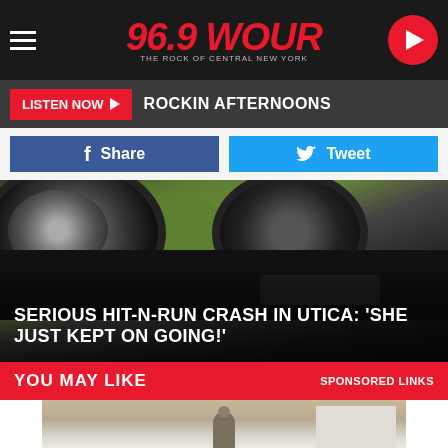96.9 WOUR - THE ROCK OF CENTRAL NEW YORK
LISTEN NOW ▶ ROCKIN AFTERNOONS
f Share | Tweet
[Figure (photo): Photo of a vehicle involved in a hit-and-run crash, showing car wheels on pavement near grass]
SERIOUS HIT-N-RUN CRASH IN UTICA: 'SHE JUST KEPT ON GOING!'
YOU MAY LIKE · SPONSORED LINKS
[Figure (photo): Sponsored image showing a person painting a room wall]